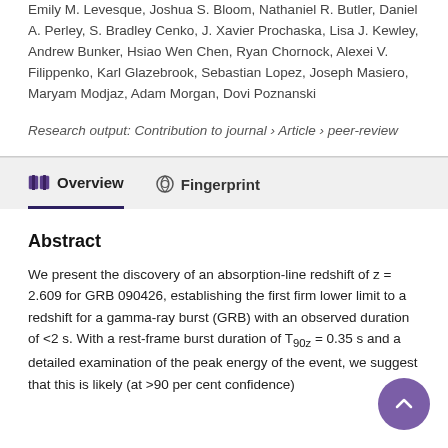Emily M. Levesque, Joshua S. Bloom, Nathaniel R. Butler, Daniel A. Perley, S. Bradley Cenko, J. Xavier Prochaska, Lisa J. Kewley, Andrew Bunker, Hsiao Wen Chen, Ryan Chornock, Alexei V. Filippenko, Karl Glazebrook, Sebastian Lopez, Joseph Masiero, Maryam Modjaz, Adam Morgan, Dovi Poznanski
Research output: Contribution to journal › Article › peer-review
Overview
Fingerprint
Abstract
We present the discovery of an absorption-line redshift of z = 2.609 for GRB 090426, establishing the first firm lower limit to a redshift for a gamma-ray burst (GRB) with an observed duration of <2 s. With a rest-frame burst duration of T90z = 0.35 s and a detailed examination of the peak energy of the event, we suggest that this is likely (at >90 per cent confidence)